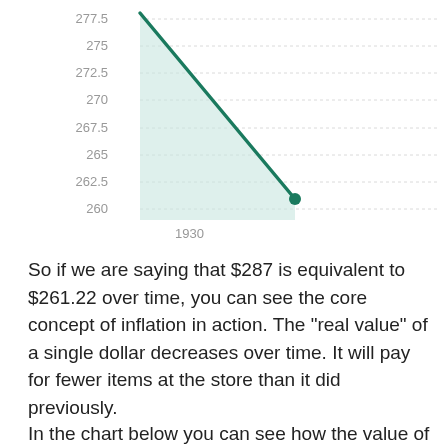[Figure (area-chart): Area chart showing declining value from ~277 at left edge down to ~260.92 at 1930, with light green shaded area below the line.]
So if we are saying that $287 is equivalent to $261.22 over time, you can see the core concept of inflation in action. The "real value" of a single dollar decreases over time. It will pay for fewer items at the store than it did previously.
In the chart below you can see how the value of